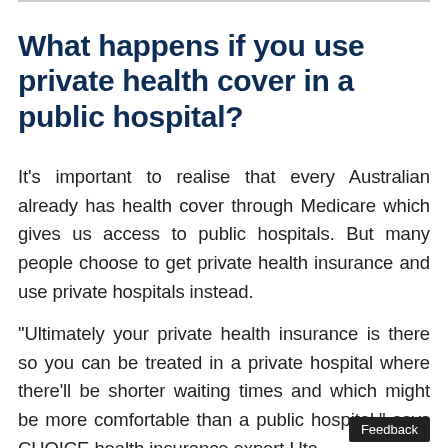What happens if you use private health cover in a public hospital?
It's important to realise that every Australian already has health cover through Medicare which gives us access to public hospitals. But many people choose to get private health insurance and use private hospitals instead.
"Ultimately your private health insurance is there so you can be treated in a private hospital where there'll be shorter waiting times and which might be more comfortable than a public hospital," says CHOICE health insurance expert Uta